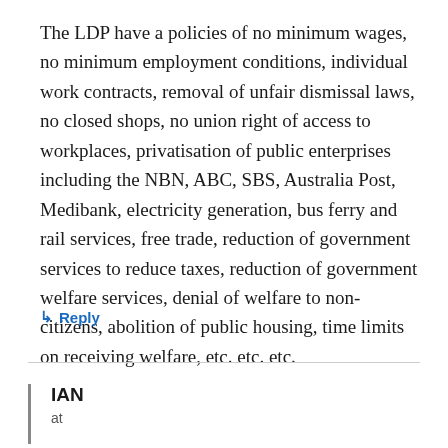The LDP have a policies of no minimum wages, no minimum employment conditions, individual work contracts, removal of unfair dismissal laws, no closed shops, no union right of access to workplaces, privatisation of public enterprises including the NBN, ABC, SBS, Australia Post, Medibank, electricity generation, bus ferry and rail services, free trade, reduction of government services to reduce taxes, reduction of government welfare services, denial of welfare to non-citizens, abolition of public housing, time limits on receiving welfare, etc. etc. etc.
↳ Reply
IAN
at